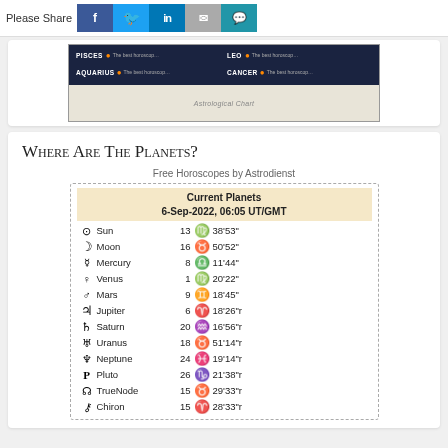Please Share
[Figure (photo): Stack of astrology books including Pisces, Aquarius, Leo, Cancer titles with star chart visible]
Where Are The Planets?
Free Horoscopes by Astrodienst
| Current Planets
6-Sep-2022, 06:05 UT/GMT |  |  |  |  |
| --- | --- | --- | --- | --- |
| ☉ | Sun | 13 | ♍ | 38'53" |
| ☽ | Moon | 16 | ♉ | 50'52" |
| ☿ | Mercury | 8 | ♎ | 11'44" |
| ♀ | Venus | 1 | ♍ | 20'22" |
| ♂ | Mars | 9 | ♊ | 18'45" |
| ♃ | Jupiter | 6 | ♈ | 18'26"r |
| ♄ | Saturn | 20 | ♒ | 16'56"r |
| ♅ | Uranus | 18 | ♉ | 51'14"r |
| ♆ | Neptune | 24 | ♓ | 19'14"r |
| ♇ | Pluto | 26 | ♑ | 21'38"r |
| ☊ | TrueNode | 15 | ♉ | 29'33"r |
| ⚷ | Chiron | 15 | ♈ | 28'33"r |